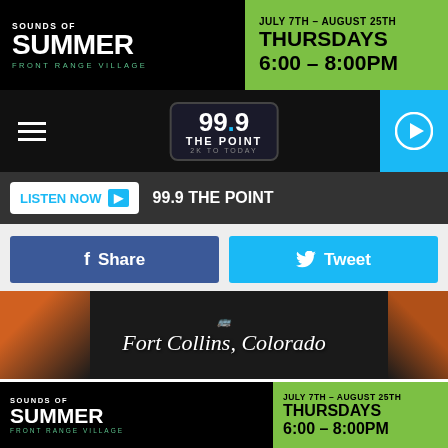[Figure (screenshot): Top advertisement banner for Sounds of Summer at Front Range Village, July 7th - August 25th, Thursdays 6:00-8:00PM]
[Figure (screenshot): Navigation bar with hamburger menu, 99.9 The Point logo, and play button]
[Figure (screenshot): Listen Now button bar with 99.9 THE POINT text]
[Figure (screenshot): Social share buttons: Share and Tweet]
[Figure (photo): Image showing embroidered text Fort Collins, Colorado on dark fabric with orange background]
Depop
Debbie Duz Donuts
Debbie Duz Donuts was a topless doughnut shop near I-25 and Mulberry that opened in the summer of 1989. By October,
[Figure (screenshot): Bottom advertisement banner for Sounds of Summer at Front Range Village, July 7th - August 25th, Thursdays 6:00-8:00PM]